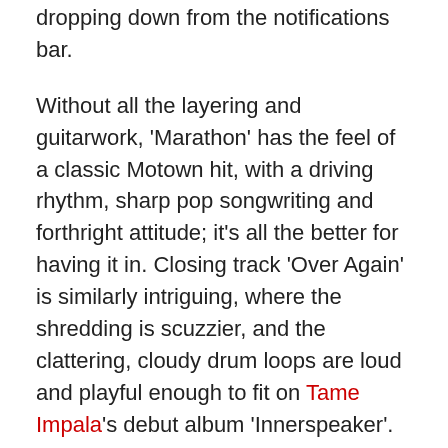dropping down from the notifications bar.
Without all the layering and guitarwork, 'Marathon' has the feel of a classic Motown hit, with a driving rhythm, sharp pop songwriting and forthright attitude; it's all the better for having it in. Closing track 'Over Again' is similarly intriguing, where the shredding is scuzzier, and the clattering, cloudy drum loops are loud and playful enough to fit on Tame Impala's debut album 'Innerspeaker'. The influences and nods to her heroes are blatant on this EP, but that doesn't make them any less thrilling.
Details